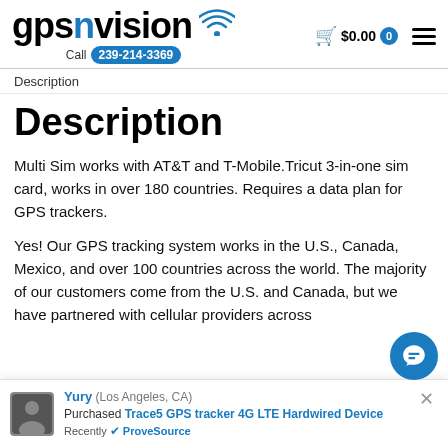gpsnvision — Call 239-214-3369 — $0.00 cart
Description
Description
Multi Sim works with AT&T and T-Mobile.Tricut 3-in-one sim card, works in over 180 countries. Requires a data plan for GPS trackers.
Yes! Our GPS tracking system works in the U.S., Canada, Mexico, and over 100 countries across the world. The majority of our customers come from the U.S. and Canada, but we have partnered with cellular providers across
Yury (Los Angeles, CA) Purchased Trace5 GPS tracker 4G LTE Hardwired Device Recently ✓ ProveSource